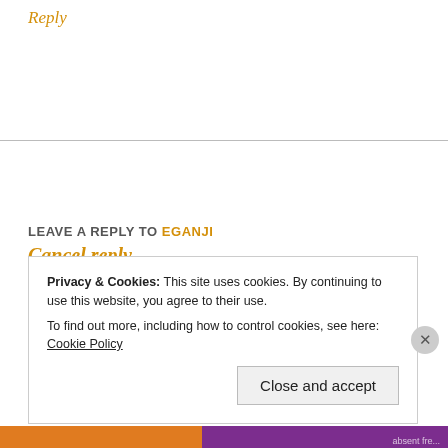Reply
LEAVE A REPLY TO EGANJI
Cancel reply
Your email address will not be published. Required fields are marked *
Comment *
Privacy & Cookies: This site uses cookies. By continuing to use this website, you agree to their use.
To find out more, including how to control cookies, see here: Cookie Policy
Close and accept